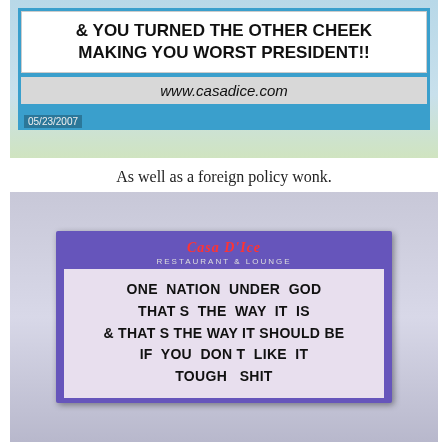[Figure (photo): Photo of a Casa Dice restaurant sign reading '& YOU TURNED THE OTHER CHEEK MAKING YOU WORST PRESIDENT!!' with www.casadice.com below, dated 05/23/2007]
As well as a foreign policy wonk.
[Figure (photo): Photo of a Casa D'Ice Restaurant & Lounge sign reading 'ONE NATION UNDER GOD THAT S THE WAY IT IS & THAT S THE WAY IT SHOULD BE IF YOU DON T LIKE IT TOUGH SHIT']